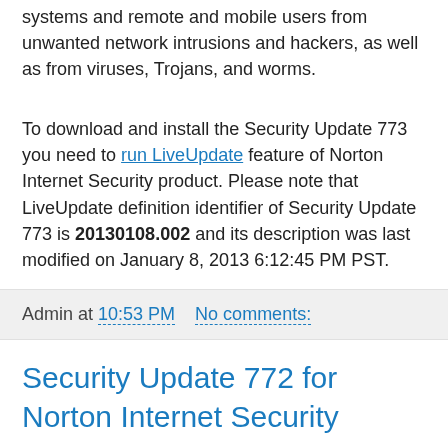systems and remote and mobile users from unwanted network intrusions and hackers, as well as from viruses, Trojans, and worms.
To download and install the Security Update 773 you need to run LiveUpdate feature of Norton Internet Security product. Please note that LiveUpdate definition identifier of Security Update 773 is 20130108.002 and its description was last modified on January 8, 2013 6:12:45 PM PST.
Admin at 10:53 PM   No comments:
Security Update 772 for Norton Internet Security
Security Updates give the most recent protection content for Norton Internet Security, which protect networked critical systems and remote and mobile users from unwanted network intrusions and hackers, as well as from viruses, Trojans, and worms.